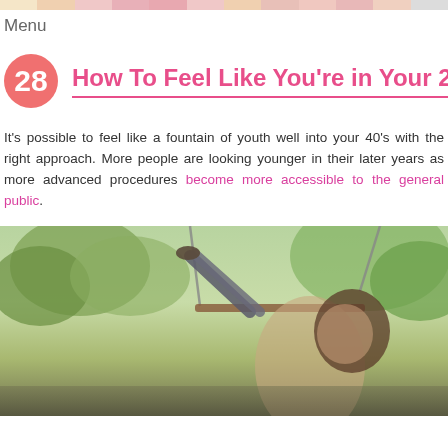Menu
How To Feel Like You're in Your 20's in...
It's possible to feel like a fountain of youth well into your 40's with the right approach. More people are looking younger in their later years as more advanced procedures become more accessible to the general public.
[Figure (photo): Woman on a swing outdoors with trees in background, viewed from below]